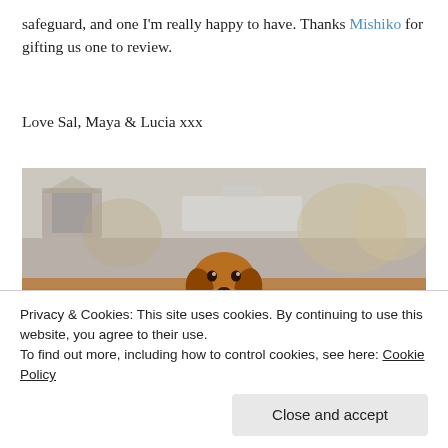safeguard, and one I'm really happy to have. Thanks Mishiko for gifting us one to review.
Love Sal, Maya & Lucia xxx
[Figure (photo): A golden/brown dachshund dog running outdoors carrying an orange ball in its mouth, with an autumn blurred background showing trees and buildings.]
Privacy & Cookies: This site uses cookies. By continuing to use this website, you agree to their use.
To find out more, including how to control cookies, see here: Cookie Policy
Close and accept